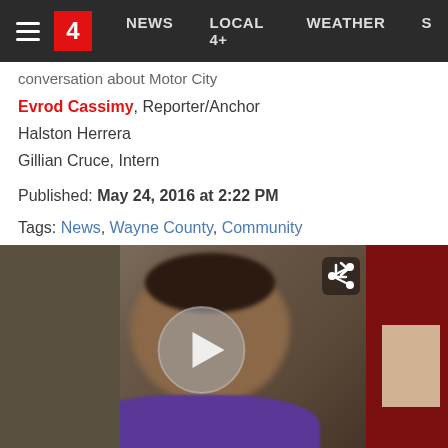4  NEWS  LOCAL 4+  WEATHER  S
conversation about Motor City
Evrod Cassimy, Reporter/Anchor
Halston Herrera
Gillian Cruce, Intern
Published: May 24, 2016 at 2:22 PM
Tags: News, Wayne County, Community
[Figure (screenshot): Video thumbnail showing a person in a purple shirt in what appears to be an interview setting, with a play button overlay and share icon in the top right.]